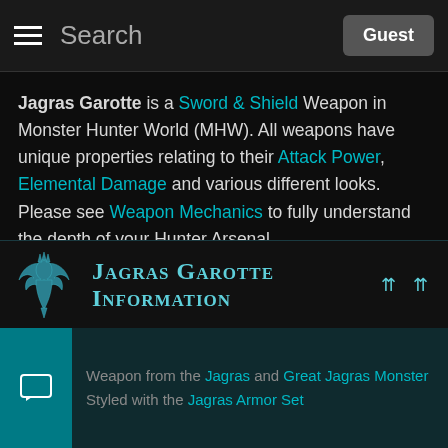Search | Guest
Jagras Garotte is a Sword & Shield Weapon in Monster Hunter World (MHW). All weapons have unique properties relating to their Attack Power, Elemental Damage and various different looks. Please see Weapon Mechanics to fully understand the depth of your Hunter Arsenal.
Jagras Garotte Information
Weapon from the Jagras and Great Jagras Monster
Styled with the Jagras Armor Set